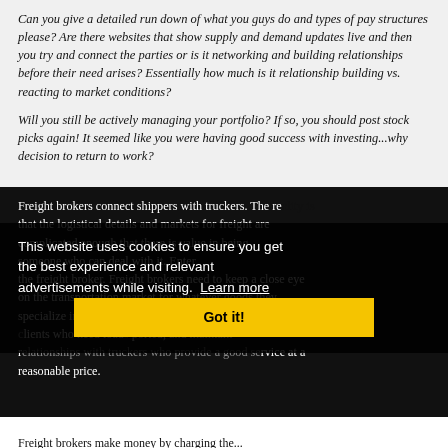Can you give a detailed run down of what you guys do and types of pay structures please? Are there websites that show supply and demand updates live and then you try and connect the parties or is it networking and building relationships before their need arises? Essentially how much is it relationship building vs. reacting to market conditions?
Will you still be actively managing your portfolio? If so, you should post stock picks again! It seemed like you were having good success with investing...why decision to return to work?
Freight brokers connect shippers with truckers. The reality is that the logistical details and markets for freight are complicated enough that there is value in being someone who can deal with it. Enter the freight broker. Freight brokers need to keep a close eye on the transportation market for whatever goods they specialize in (most specialize pretty narrowly) cold call to find clients who need loads transported, and maintain relationships with truckers who provide a good service at a reasonable price.
This website uses cookies to ensure you get the best experience and relevant advertisements while visiting. Learn more
Got it!
Freight brokers make money by charging the...